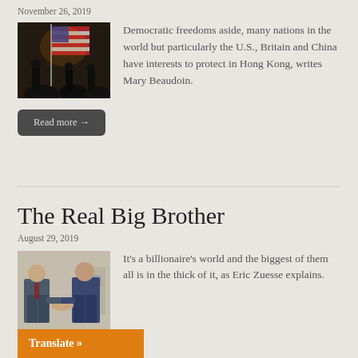November 26, 2019
[Figure (photo): People waving American flags in a dark setting, likely a protest or demonstration]
Democratic freedoms aside, many nations in the world but particularly the U.S., Britain and China have interests to protect in Hong Kong, writes Mary Beaudoin.
Read more →
The Real Big Brother
August 29, 2019
[Figure (photo): Two men in suits shaking hands in an office setting]
It's a billionaire's world and the biggest of them all is in the thick of it, as Eric Zuesse explains.
Translate »